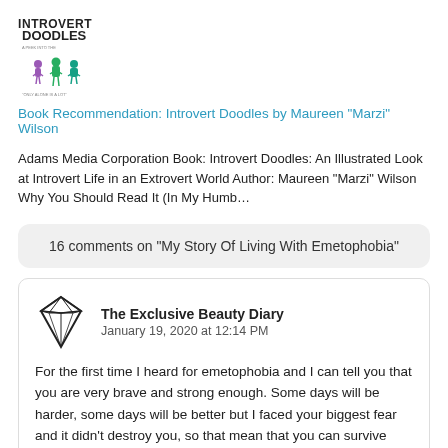[Figure (logo): Introvert Doodles logo with cartoon figures and text]
Book Recommendation: Introvert Doodles by Maureen "Marzi" Wilson
Adams Media Corporation Book: Introvert Doodles: An Illustrated Look at Introvert Life in an Extrovert World Author: Maureen "Marzi" Wilson Why You Should Read It (In My Humb…
16 comments on "My Story Of Living With Emetophobia"
The Exclusive Beauty Diary
January 19, 2020 at 12:14 PM
For the first time I heard for emetophobia and I can tell you that you are very brave and strong enough. Some days will be harder, some days will be better but I faced your biggest fear and it didn't destroy you, so that mean that you can survive everything.